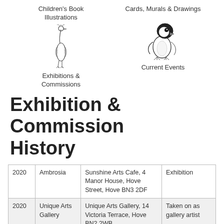Children's Book Illustrations
Cards, Murals & Drawings
[Figure (illustration): Pencil sketch of a tall bird (heron or similar)]
[Figure (illustration): Pencil sketch of a penguin]
Exhibitions & Commissions
Current Events
Exhibition & Commission History
| Year | Name | Address | Type |
| --- | --- | --- | --- |
| 2020 | Ambrosia | Sunshine Arts Cafe, 4 Manor House, Hove Street, Hove BN3 2DF | Exhibition |
| 2020 | Unique Arts Gallery | Unique Arts Gallery, 14 Victoria Terrace, Hove BN2 2WB | Taken on as gallery artist |
|  |  |  |  |